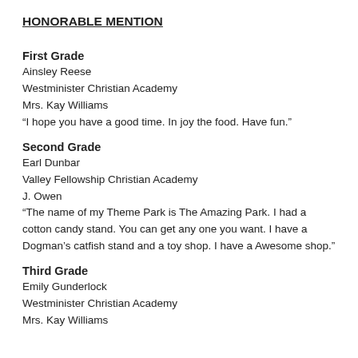HONORABLE MENTION
First Grade
Ainsley Reese
Westminister Christian Academy
Mrs. Kay Williams
“I hope you have a good time. In joy the food. Have fun.”
Second Grade
Earl Dunbar
Valley Fellowship Christian Academy
J. Owen
“The name of my Theme Park is The Amazing Park. I had a cotton candy stand. You can get any one you want. I have a Dogman’s catfish stand and a toy shop. I have a Awesome shop.”
Third Grade
Emily Gunderlock
Westminister Christian Academy
Mrs. Kay Williams